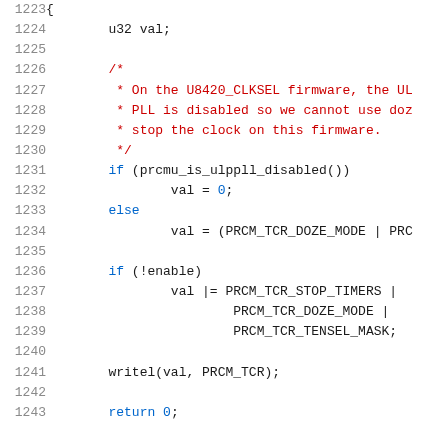Source code listing lines 1223-1243 showing C firmware code with if/else logic for prcmu_is_ulppll_disabled(), val assignments, and writel(val, PRCM_TCR) call.